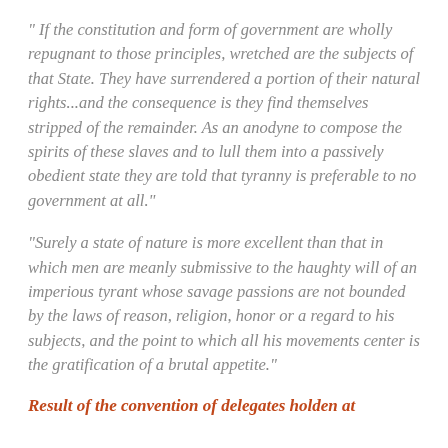“ If the constitution and form of government are wholly repugnant to those principles, wretched are the subjects of that State. They have surrendered a portion of their natural rights...and the consequence is they find themselves stripped of the remainder. As an anodyne to compose the spirits of these slaves and to lull them into a passively obedient state they are told that tyranny is preferable to no government at all.”
“Surely a state of nature is more excellent than that in which men are meanly submissive to the haughty will of an imperious tyrant whose savage passions are not bounded by the laws of reason, religion, honor or a regard to his subjects, and the point to which all his movements center is the gratification of a brutal appetite.”
Result of the convention of delegates holden at